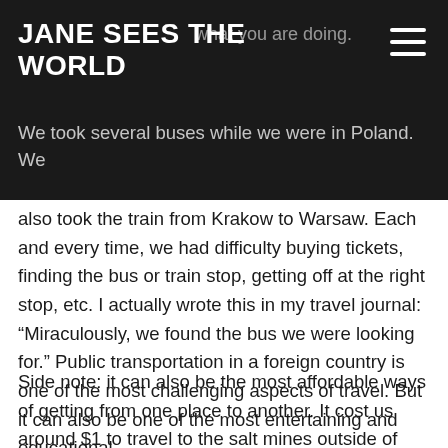JANE SEES THE WORLD
expect to understand what you are doing.
We took several buses while we were in Poland. We also took the train from Krakow to Warsaw. Each and every time, we had difficulty buying tickets, finding the bus or train stop, getting off at the right stop, etc. I actually wrote this in my travel journal: “Miraculously, we found the bus we were looking for.” Public transportation in a foreign country is one of the most challenging aspects of travel. But it can also be one of the most entertaining and educational.
Side note: it can also be the most affordable ways of getting from one place to another. It cost us around $1 to travel to the salt mines outside of Krakow. On that